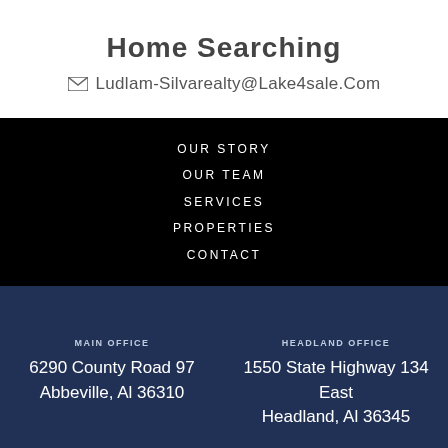Home Searching
✉ Ludlam-Silvarealty@Lake4sale.Com
OUR STORY
OUR TEAM
SERVICES
PROPERTIES
CONTACT
MAIN OFFICE
6290 County Road 97
Abbeville, Al 36310
HEADLAND OFFICE
1550 State Highway 134 East
Headland, Al 36345